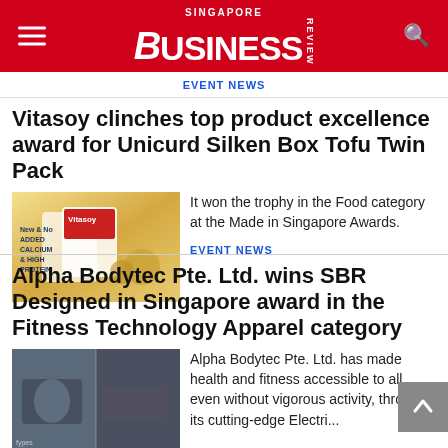SINGAPORE BUSINESS REVIEW
EVENT NEWS
Vitasoy clinches top product excellence award for Unicurd Silken Box Tofu Twin Pack
[Figure (photo): Product image of Vitasoy Unicurd Silken Box Tofu Twin Pack with text 'New & No Added Calcium & High Protein']
It won the trophy in the Food category at the Made in Singapore Awards.
EVENT NEWS
Alpha Bodytec Pte. Ltd. wins SBR Designed in Singapore award in the Fitness Technology Apparel category
[Figure (photo): Photo showing a person using fitness/EMS technology device]
Alpha Bodytec Pte. Ltd. has made health and fitness accessible to all, even without vigorous activity, through its cutting-edge Electrical...